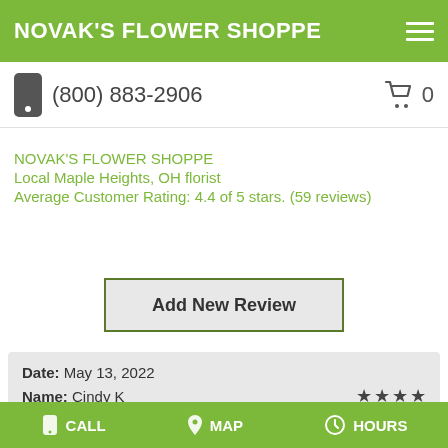NOVAK'S FLOWER SHOPPE
(800) 883-2906
NOVAK'S FLOWER SHOPPE
Local Maple Heights, OH florist
Average Customer Rating: 4.4 of 5 stars. (59 reviews)
Add New Review
Date: May 13, 2022
Name: Cindy K
State/Province: OH
★★★★
would've been a 5, not a huge issue but I asked for a May 10th delivery on my anniversary and they were
CALL   MAP   HOURS